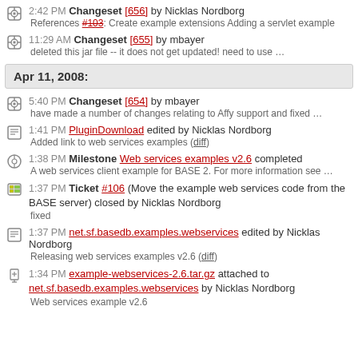2:42 PM Changeset [656] by Nicklas Nordborg
References #103: Create example extensions Adding a servlet example
11:29 AM Changeset [655] by mbayer
deleted this jar file -- it does not get updated! need to use ...
Apr 11, 2008:
5:40 PM Changeset [654] by mbayer
have made a number of changes relating to Affy support and fixed ...
1:41 PM PluginDownload edited by Nicklas Nordborg
Added link to web services examples (diff)
1:38 PM Milestone Web services examples v2.6 completed
A web services client example for BASE 2. For more information see ...
1:37 PM Ticket #106 (Move the example web services code from the BASE server) closed by Nicklas Nordborg
fixed
1:37 PM net.sf.basedb.examples.webservices edited by Nicklas Nordborg
Releasing web services examples v2.6 (diff)
1:34 PM example-webservices-2.6.tar.gz attached to net.sf.basedb.examples.webservices by Nicklas Nordborg
Web services example v2.6